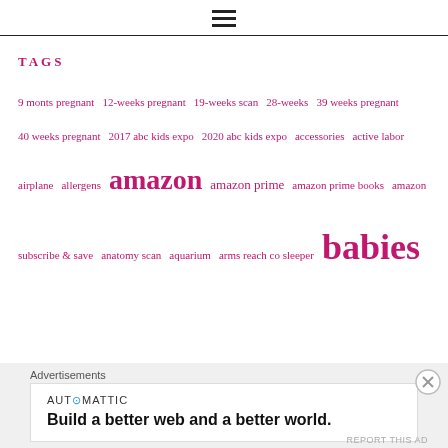≡ (hamburger menu icon)
TAGS
9 monts pregnant 12-weeks pregnant 19-weeks scan 28-weeks 39 weeks pregnant 40 weeks pregnant 2017 abc kids expo 2020 abc kids expo accessories active labor airplane allergens amazon amazon prime amazon prime books amazon subscribe & save anatomy scan aquarium arms reach co sleeper babies
Advertisements
AUTOMATTIC
Build a better web and a better world.